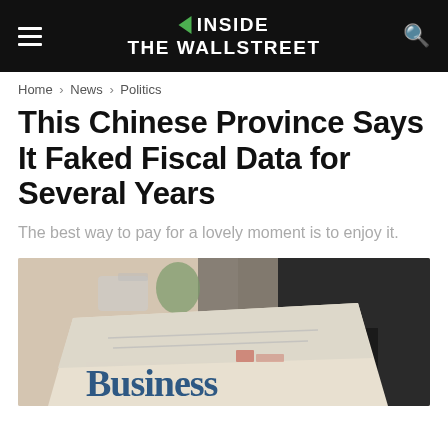INSIDE THE WALLSTREET
Home > News > Politics
This Chinese Province Says It Faked Fiscal Data for Several Years
The best way to pay for a lovely moment is to enjoy it.
[Figure (photo): A person in a dark suit holding a business newspaper, blurred background with a plant and white objects on a shelf. The word 'Business' is visible at the bottom of the newspaper.]